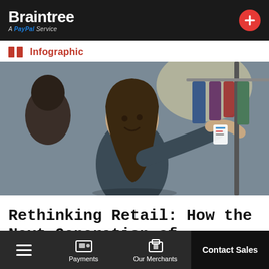Braintree — A PayPal Service
Infographic
[Figure (photo): A smiling young woman with long dark hair browsing clothes hanging on an outdoor rack, with other shoppers in the background. Street market retail scene.]
Rethinking Retail: How the Next Generation of Shoppers Is Redefining the In-store Experience
Payments | Our Merchants | Contact Sales